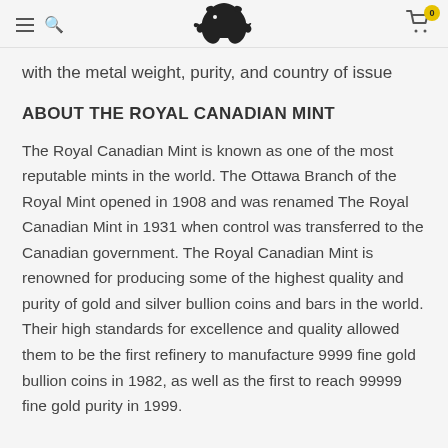Navigation header with hamburger menu, search icon, bull logo, and cart (0)
with the metal weight, purity, and country of issue
ABOUT THE ROYAL CANADIAN MINT
The Royal Canadian Mint is known as one of the most reputable mints in the world. The Ottawa Branch of the Royal Mint opened in 1908 and was renamed The Royal Canadian Mint in 1931 when control was transferred to the Canadian government. The Royal Canadian Mint is renowned for producing some of the highest quality and purity of gold and silver bullion coins and bars in the world. Their high standards for excellence and quality allowed them to be the first refinery to manufacture 9999 fine gold bullion coins in 1982, as well as the first to reach 99999 fine gold purity in 1999.